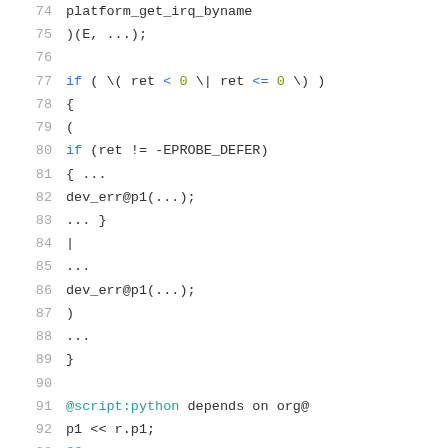74  platform_get_irq_byname
75  )(E, ...);
76  
77  if ( \( ret < 0 \| ret <= 0 \) )
78  {
79  (
80  if (ret != -EPROBE_DEFER)
81  { ...
82  dev_err@p1(...);
83  ... }
84  |
85  ...
86  dev_err@p1(...);
87  )
88  ...
89  }
90  
91  @script:python depends on org@
92  p1 << r.p1;
93  @@
94  
95  cocci_print_main(p1)